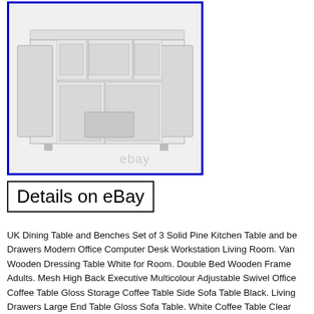[Figure (photo): A white sideboard/buffet cabinet with three doors open, showing internal shelves and a central drawer unit. The image has a blue border and an 'ebay' watermark in the lower right area.]
Details on eBay
UK Dining Table and Benches Set of 3 Solid Pine Kitchen Table and be... Drawers Modern Office Computer Desk Workstation Living Room. Van... Wooden Dressing Table White for Room. Double Bed Wooden Frame Adults. Mesh High Back Executive Multicolour Adjustable Swivel Office... Coffee Table Gloss Storage Coffee Table Side Sofa Table Black. Living... Drawers Large End Table Gloss Sofa Table. White Coffee Table Clear... Tables Living Room. Bunk Bed with Stairs and Slide, Solid Pine Wood F... Massage Lift Recliner Chair Fabric Sofa Contempoary Overstuffed De... with Side tables 29 x 129 cm x 39 x 228 cm - Dining Table, Chairs, Do...